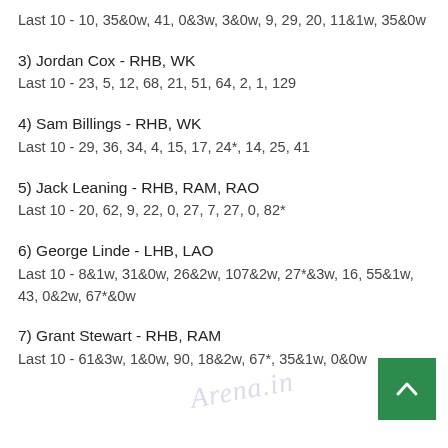Last 10 - 10, 35&0w, 41, 0&3w, 3&0w, 9, 29, 20, 11&1w, 35&0w
3) Jordan Cox - RHB, WK
Last 10 - 23, 5, 12, 68, 21, 51, 64, 2, 1, 129
4) Sam Billings - RHB, WK
Last 10 - 29, 36, 34, 4, 15, 17, 24*, 14, 25, 41
5) Jack Leaning - RHB, RAM, RAO
Last 10 - 20, 62, 9, 22, 0, 27, 7, 27, 0, 82*
6) George Linde - LHB, LAO
Last 10 - 8&1w, 31&0w, 26&2w, 107&2w, 27*&3w, 16, 55&1w, 43, 0&2w, 67*&0w
7) Grant Stewart - RHB, RAM
Last 10 - 61&3w, 1&0w, 90, 18&2w, 67*, 35&1w, 0&0w